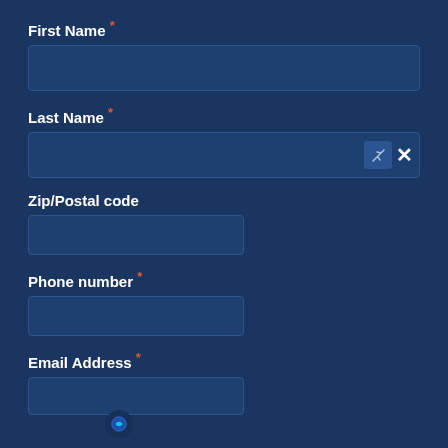First Name *
Last Name *
Zip/Postal code
Phone number *
Email Address *
[Figure (screenshot): Chatbot overlay popup titled 'How can I help you?' with radio button options: Immigrant Employment, Family, Visas, Immigration issues, and a Scroll pill button at bottom right.]